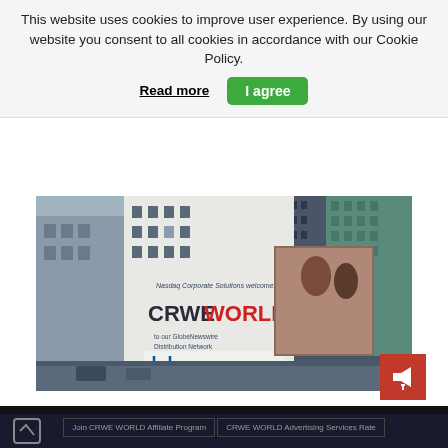This website uses cookies to improve user experience. By using our website you consent to all cookies in accordance with our Cookie Policy.
Read more
I agree
[Figure (photo): Photograph of a Times Square building billboard showing CRWEWORLD welcomed by Nasdaq Corporate Solutions via GlobeNewswire Distribution Network. The white building displays CRWE in dark letters and WORLD in red, with Nasdaq logo at the bottom. Urban cityscape with other buildings visible.]
[Figure (screenshot): Bottom navigation bar of website showing join and advertising links for CRWE WORLD]
Join CRWE WORLD Affiliate Program
CRWE WORLD Advertising Services Rate